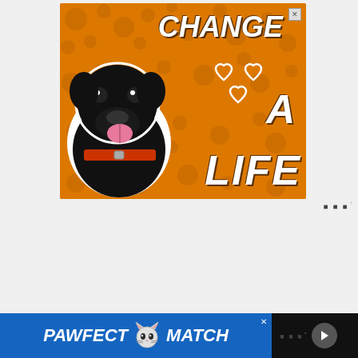[Figure (illustration): Advertisement banner with orange background showing a black Labrador dog with a red collar. White bold italic text reads 'CHANGE A LIFE' with white heart outline icons. Top-right has a small close X button.]
[Figure (illustration): Bottom advertisement banner with dark navy/blue background. Bold white italic text reads 'PAWFECT MATCH' with a cat face icon in the center. Right side shows Tidal logo and a play button.]